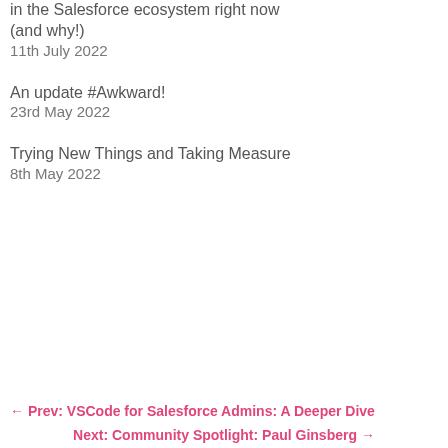in the Salesforce ecosystem right now (and why!)
11th July 2022
An update #Awkward!
23rd May 2022
Trying New Things and Taking Measure
8th May 2022
← Prev: VSCode for Salesforce Admins: A Deeper Dive
Next: Community Spotlight: Paul Ginsberg →